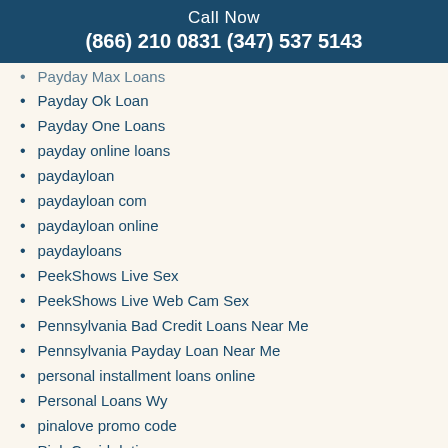Call Now
(866) 210 0831 (347) 537 5143
Payday Max Loans
Payday Ok Loan
Payday One Loans
payday online loans
paydayloan
paydayloan com
paydayloan online
paydayloans
PeekShows Live Sex
PeekShows Live Web Cam Sex
Pennsylvania Bad Credit Loans Near Me
Pennsylvania Payday Loan Near Me
personal installment loans online
Personal Loans Wy
pinalove promo code
Pink Cupid dating
pink cupid mobile site
Call Now
(866) 210 0831 (347) 537 5143